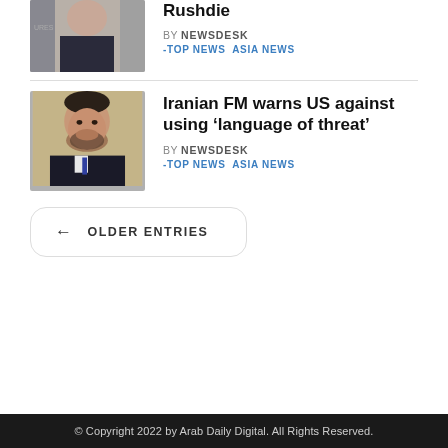[Figure (photo): Partial photo of a man at a public event, partially cropped at top]
Rushdie
BY NEWSDESK
-TOP NEWS ASIA NEWS
[Figure (photo): Portrait photo of Iranian Foreign Minister, man with beard in dark suit]
Iranian FM warns US against using ‘language of threat’
BY NEWSDESK
-TOP NEWS ASIA NEWS
OLDER ENTRIES
© Copyright 2022 by Arab Daily Digital. All Rights Reserved.